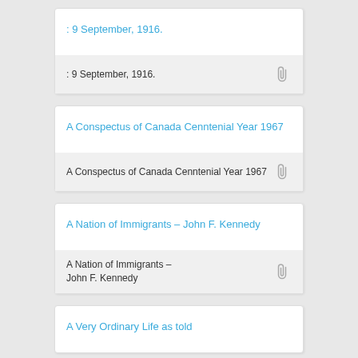: 9 September, 1916.
A Conspectus of Canada Cenntenial Year 1967
A Nation of Immigrants – John F. Kennedy
A Very Ordinary Life as told